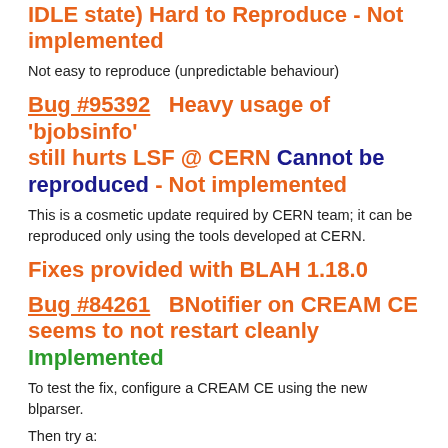IDLE state) Hard to Reproduce - Not implemented
Not easy to reproduce (unpredictable behaviour)
Bug #95392   Heavy usage of 'bjobsinfo' still hurts LSF @ CERN Cannot be reproduced - Not implemented
This is a cosmetic update required by CERN team; it can be reproduced only using the tools developed at CERN.
Fixes provided with BLAH 1.18.0
Bug #84261   BNotifier on CREAM CE seems to not restart cleanly Implemented
To test the fix, configure a CREAM CE using the new blparser.
Then try a:
It shouldn't report the error message: